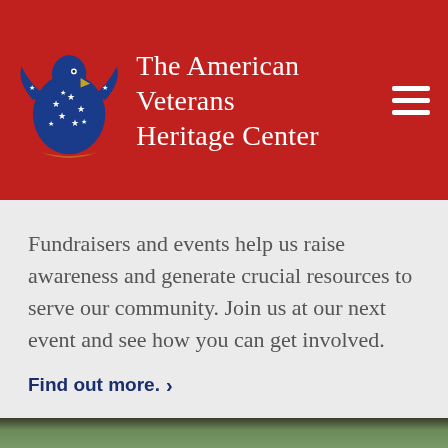[Figure (logo): The American Veterans Heritage Center logo: a blue eagle with white stars on red background header, with organization name in white serif text]
Fundraisers and events help us raise awareness and generate crucial resources to serve our community. Join us at our next event and see how you can get involved.
Find out more. ›
[Figure (photo): Bottom strip of a photo showing what appears to be a person and trees]